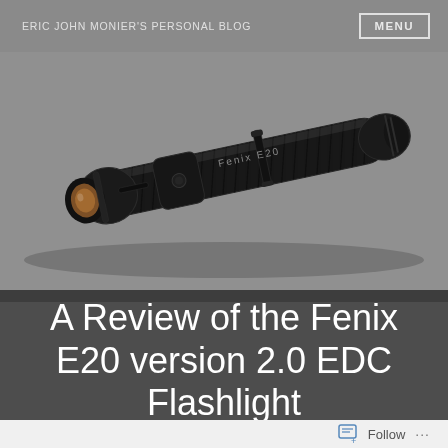ERIC JOHN MONIER'S PERSONAL BLOG | MENU
[Figure (photo): A black Fenix E20 version 2.0 EDC flashlight photographed diagonally on a gray background, showing the body with clip, textured grip, side switch, and lens end.]
A Review of the Fenix E20 version 2.0 EDC Flashlight
Follow ...